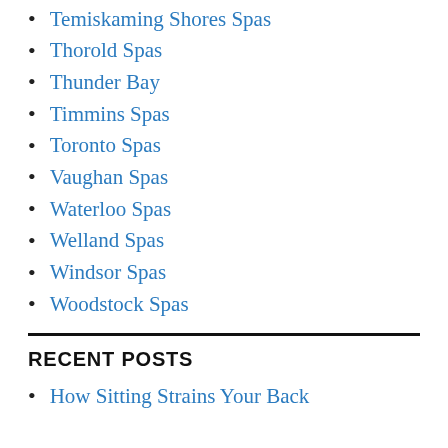Temiskaming Shores Spas
Thorold Spas
Thunder Bay
Timmins Spas
Toronto Spas
Vaughan Spas
Waterloo Spas
Welland Spas
Windsor Spas
Woodstock Spas
RECENT POSTS
How Sitting Strains Your Back